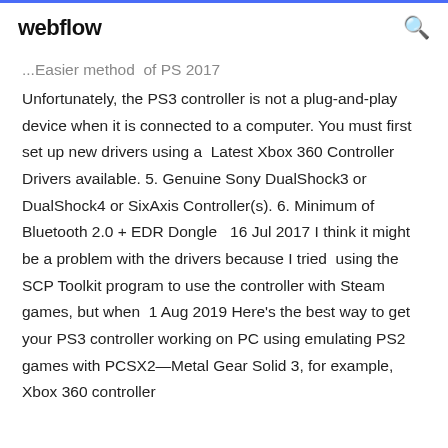webflow
... Easier method of PS 2017 Unfortunately, the PS3 controller is not a plug-and-play device when it is connected to a computer. You must first set up new drivers using a Latest Xbox 360 Controller Drivers available. 5. Genuine Sony DualShock3 or DualShock4 or SixAxis Controller(s). 6. Minimum of Bluetooth 2.0 + EDR Dongle  16 Jul 2017 I think it might be a problem with the drivers because I tried using the SCP Toolkit program to use the controller with Steam games, but when  1 Aug 2019 Here's the best way to get your PS3 controller working on PC using emulating PS2 games with PCSX2—Metal Gear Solid 3, for example, Xbox 360 controller